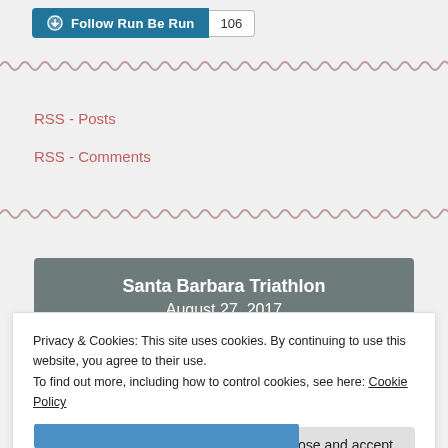[Figure (other): Follow Run Be Run WordPress follow button with count 106]
RSS - Posts
RSS - Comments
Santa Barbara Triathlon
August 27, 2017
Privacy & Cookies: This site uses cookies. By continuing to use this website, you agree to their use.
To find out more, including how to control cookies, see here: Cookie Policy
Close and accept